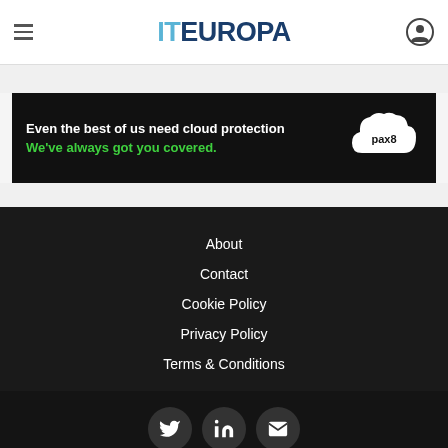IT EUROPA (logo with hamburger menu and user icon)
[Figure (other): Pax8 advertisement banner: black background with white bold text 'Even the best of us need cloud protection' and green bold text 'We’ve always got you covered.' with a white cloud shape containing 'pax8' logo on the right.]
About
Contact
Cookie Policy
Privacy Policy
Terms & Conditions
Twitter, LinkedIn, Email social icons